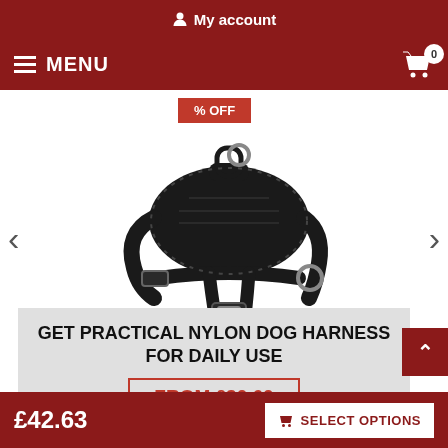My account
MENU
[Figure (photo): Black nylon dog harness product photo on white background, showing padded back, straps, buckles and D-ring attachment]
GET PRACTICAL NYLON DOG HARNESS FOR DAILY USE
FROM £30.60
£42.63
SELECT OPTIONS